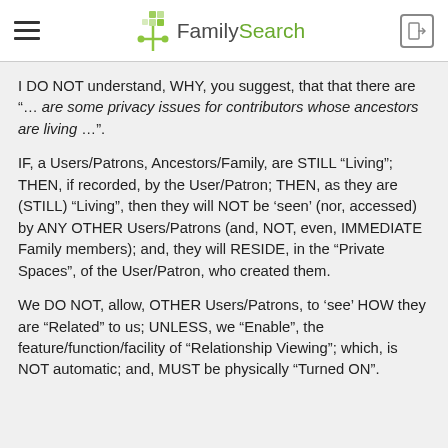FamilySearch
I DO NOT understand, WHY, you suggest, that that there are "… are some privacy issues for contributors whose ancestors are living …".
IF, a Users/Patrons, Ancestors/Family, are STILL "Living"; THEN, if recorded, by the User/Patron; THEN, as they are (STILL) "Living", then they will NOT be 'seen' (nor, accessed) by ANY OTHER Users/Patrons (and, NOT, even, IMMEDIATE Family members); and, they will RESIDE, in the "Private Spaces", of the User/Patron, who created them.
We DO NOT, allow, OTHER Users/Patrons, to 'see' HOW they are "Related" to us; UNLESS, we "Enable", the feature/function/facility of "Relationship Viewing"; which, is NOT automatic; and, MUST be physically "Turned ON".